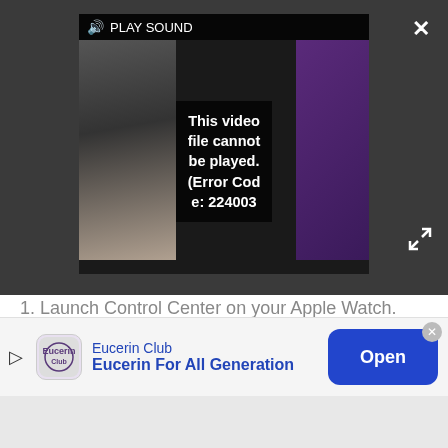[Figure (screenshot): Video player showing an error message: 'This video file cannot be played. (Error Code: 224003)' with a PLAY SOUND label and speaker icon at the top. Dark background with close (X) and expand buttons visible.]
1. Launch Control Center on your Apple Watch.
2. Tap on the AirPlay button.
3. Tap on AirPods.
How to use your AirPods with your iPad
When you pair your AirPods with your iPhone, iCloud will sync the pairing to any iPad you have running iOS
[Figure (screenshot): Advertisement banner for Eucerin Club showing 'Eucerin For All Generation' text with an Open button in blue.]